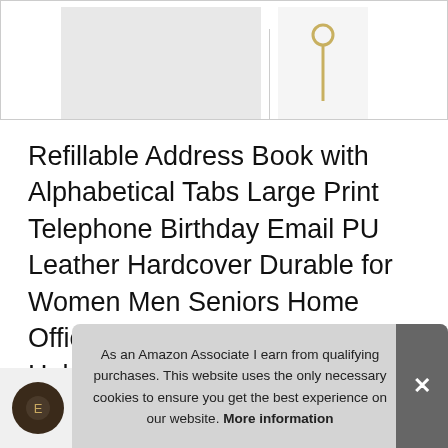[Figure (photo): Product image strip showing an address book and a pen/paper clip accessory against a light gray background]
Refillable Address Book with Alphabetical Tabs Large Print Telephone Birthday Email PU Leather Hardcover Durable for Women Men Seniors Home Office, A5, with Pen and Pen Holder
#ad
As an Amazon Associate I earn from qualifying purchases. This website uses the only necessary cookies to ensure you get the best experience on our website. More information
[Figure (photo): Row of product thumbnail images at the bottom of the page]